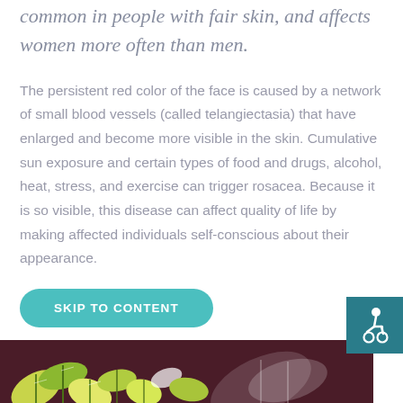common in people with fair skin, and affects women more often than men.
The persistent red color of the face is caused by a network of small blood vessels (called telangiectasia) that have enlarged and become more visible in the skin. Cumulative sun exposure and certain types of food and drugs, alcohol, heat, stress, and exercise can trigger rosacea. Because it is so visible, this disease can affect quality of life by making affected individuals self-conscious about their appearance.
SKIP TO CONTENT
[Figure (photo): Partial view of a colorful image strip at the bottom of the page showing leaves/floral elements in yellow, green, and white against a dark maroon/purple background.]